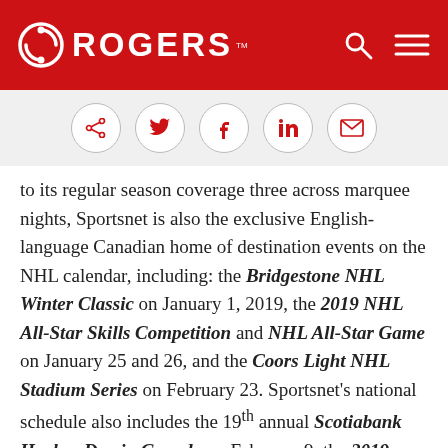ROGERS
[Figure (other): Social sharing icons bar with share, Twitter, Facebook, LinkedIn, and email icons in circles]
to its regular season coverage three across marquee nights, Sportsnet is also the exclusive English-language Canadian home of destination events on the NHL calendar, including: the Bridgestone NHL Winter Classic on January 1, 2019, the 2019 NHL All-Star Skills Competition and NHL All-Star Game on January 25 and 26, and the Coors Light NHL Stadium Series on February 23. Sportsnet's national schedule also includes the 19th annual Scotiabank Hockey Day in Canada on February 9, the 2019